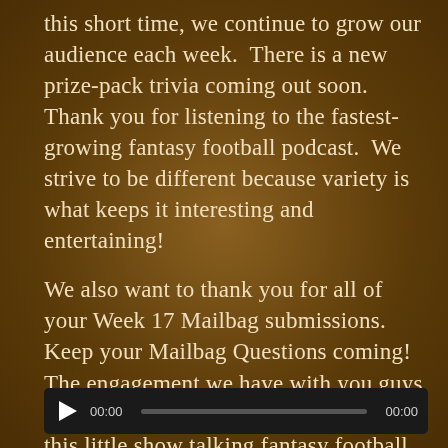this short time, we continue to grow our audience each week.  There is a new prize-pack trivia coming out soon.  Thank you for listening to the fastest-growing fantasy football podcast.  We strive to be different because variety is what keeps it interesting and entertaining!

We also want to thank you for all of your Week 17 Mailbag submissions.  Keep your Mailbag Questions coming!  The engagement we have with you guys is what gives us the most joy in doing this little show talking fantasy football.  You guys are definitely a big part of the show!
[Figure (other): Audio player widget with play button, time display 00:00, progress bar, and end time 00:00]